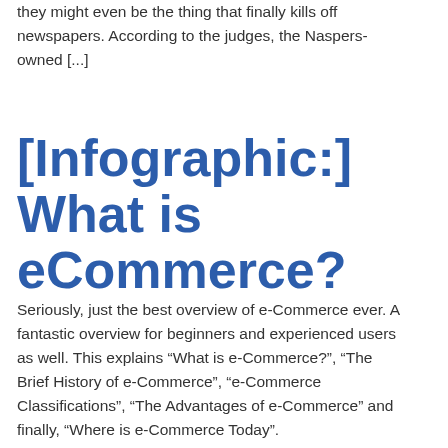they might even be the thing that finally kills off newspapers. According to the judges, the Naspers-owned [...]
[Infographic:] What is eCommerce?
Seriously, just the best overview of e-Commerce ever. A fantastic overview for beginners and experienced users as well. This explains “What is e-Commerce?”, “The Brief History of e-Commerce”, “e-Commerce Classifications”, “The Advantages of e-Commerce” and finally, “Where is e-Commerce Today”.